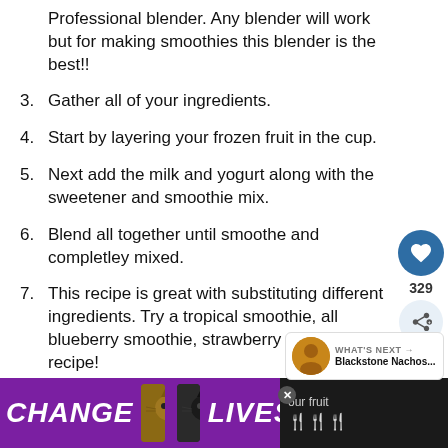Professional blender. Any blender will work but for making smoothies this blender is the best!!
3. Gather all of your ingredients.
4. Start by layering your frozen fruit in the cup.
5. Next add the milk and yogurt along with the sweetener and smoothie mix.
6. Blend all together until smoothe and completley mixed.
7. This recipe is great with substituting different ingredients. Try a tropical smoothie, all blueberry smoothie, strawberry smoothie recipe!
[Figure (screenshot): Side UI with heart/like button showing 329 likes and a share button]
[Figure (screenshot): What's Next panel showing Blackstone Nachos thumbnail and label]
[Figure (screenshot): Purple advertisement banner reading CHANGE LIVES with cat photos and a close button]